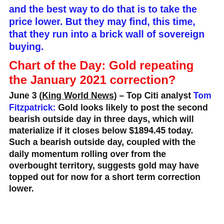and the best way to do that is to take the price lower. But they may find, this time, that they run into a brick wall of sovereign buying.
Chart of the Day: Gold repeating the January 2021 correction?
June 3 (King World News) – Top Citi analyst Tom Fitzpatrick:  Gold looks likely to post the second bearish outside day in three days, which will materialize if it closes below $1894.45 today. Such a bearish outside day, coupled with the daily momentum rolling over from the overbought territory, suggests gold may have topped out for now for a short term correction lower.